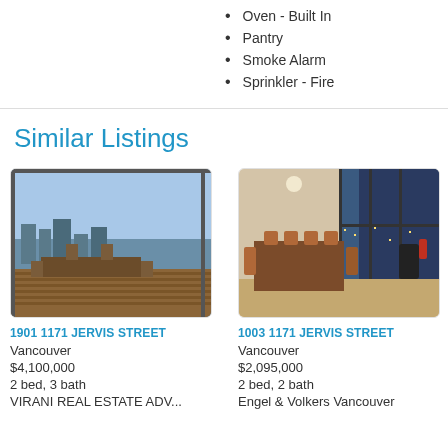Oven - Built In
Pantry
Smoke Alarm
Sprinkler - Fire
Similar Listings
[Figure (photo): Exterior/terrace view of a high-rise condo with city and water views, wooden outdoor furniture]
1901 1171 JERVIS STREET
Vancouver
$4,100,000
2 bed, 3 bath
VIRANI REAL ESTATE ADV...
[Figure (photo): Interior dining area of a modern condo with large windows and ocean/city views at dusk]
1003 1171 JERVIS STREET
Vancouver
$2,095,000
2 bed, 2 bath
Engel & Volkers Vancouver
[Figure (photo): Partial view of another high-rise condo listing]
1604...
Vanc...
$2,7...
2 be...
Enge...